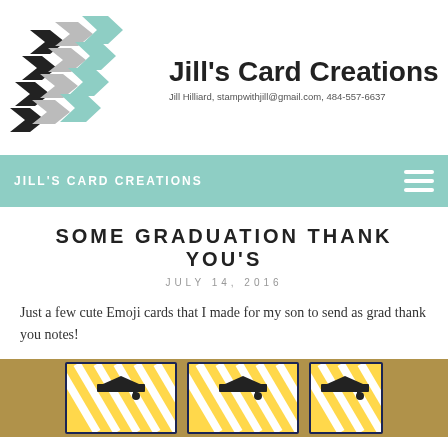[Figure (logo): Jill's Card Creations logo with chevron pattern in black, gray, and mint/teal colors, plus brand name and contact info]
JILL'S CARD CREATIONS
SOME GRADUATION THANK YOU'S
JULY 14, 2016
Just a few cute Emoji cards that I made for my son to send as grad thank you notes!
[Figure (photo): Photo of graduation emoji cards with yellow and white striped pattern and black graduation caps, arranged on a gold glitter background]